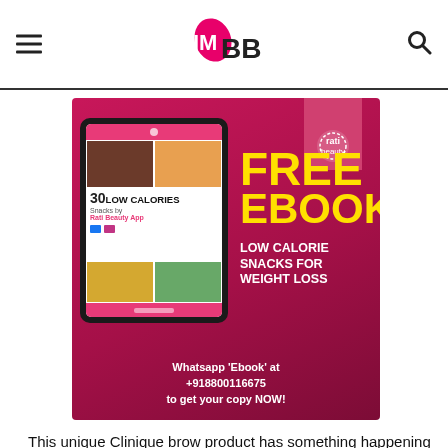IMBB
[Figure (infographic): Advertisement banner for a free ebook: '30 Low Calories Snacks by Rati Beauty App'. Red/magenta background. Shows a tablet with food images and ebook cover on the left. Right side text says FREE EBOOK in yellow, LOW CALORIE SNACKS FOR WEIGHT LOSS in white. Bottom: Whatsapp 'Ebook' at +918800116675 to get your copy NOW!]
This unique Clinique brow product has something happening at both ends. The box has the standard Clinique print on it which is so cooling to the eyes. This twist up on both ends pencil is made